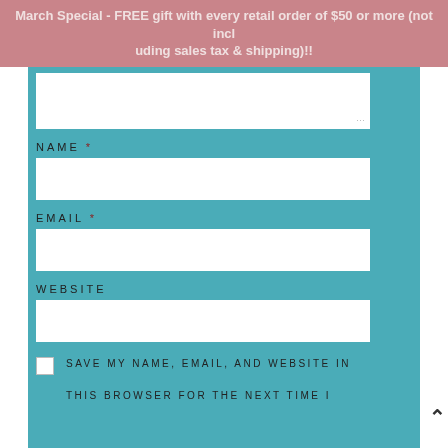March Special - FREE gift with every retail order of $50 or more (not including sales tax & shipping)!!
NAME *
EMAIL *
WEBSITE
SAVE MY NAME, EMAIL, AND WEBSITE IN THIS BROWSER FOR THE NEXT TIME I